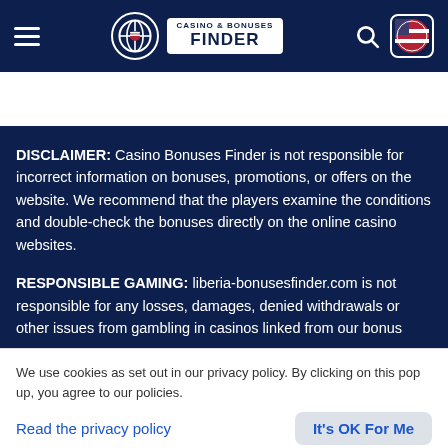Casino & Bonuses Finder — navigation bar with logo, hamburger menu, search icon, and flag button
[Figure (screenshot): Language flags row: UK, Singapore, Venezuela, and Liberia flags]
DISCLAIMER: Casino Bonuses Finder is not responsible for incorrect information on bonuses, promotions, or offers on the website. We recommend that the players examine the conditions and double-check the bonuses directly on the online casino websites.
RESPONSIBLE GAMING: liberia-bonusesfinder.com is not responsible for any losses, damages, denied withdrawals or other issues from gambling in casinos linked from our bonus
We use cookies as set out in our privacy policy. By clicking on this pop up, you agree to our policies.
Read the privacy policy
It's OK For Me